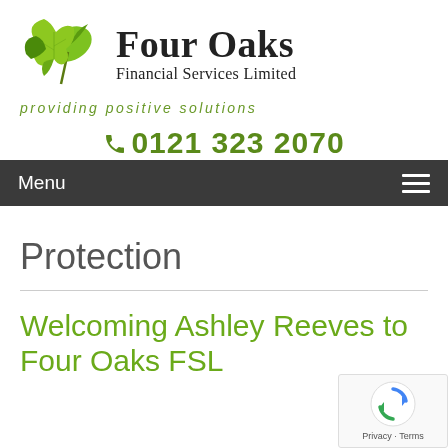[Figure (logo): Four Oaks Financial Services Limited logo with green oak leaf cluster and company name in serif font, tagline 'providing positive solutions' in green italic]
☎ 0121 323 2070
Menu
Protection
Welcoming Ashley Reeves to Four Oaks FSL